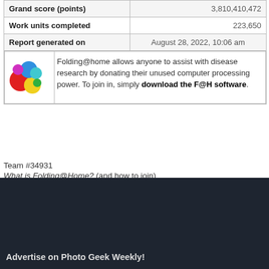| Grand score (points) | 3,810,410,472 |
| Work units completed | 223,650 |
| Report generated on | August 28, 2022, 10:06 am |
| [logo] Folding@home allows anyone to assist with disease research by donating their unused computer processing power. To join in, simply download the F@H software. |  |
Team #34931
What is Folding@Home? (and how to join)
Advertise on Photo Geek Weekly!